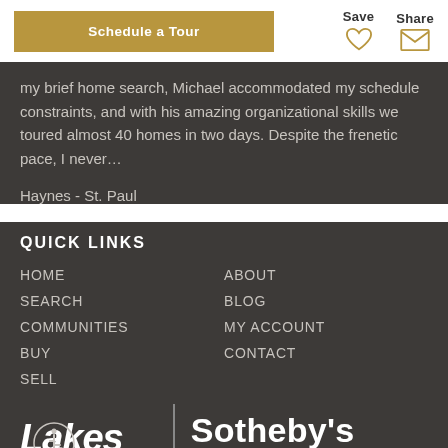[Figure (screenshot): Schedule a Tour button (gold/tan background, white text)]
[Figure (illustration): Save icon: heart outline in gold, labeled Save]
[Figure (illustration): Share icon: envelope outline in gold, labeled Share]
my brief home search, Michael accommodated my schedule constraints, and with his amazing organizational skills we toured almost 40 homes in two days. Despite the frenetic pace, I never...
Haynes - St. Paul
QUICK LINKS
HOME
SEARCH
COMMUNITIES
BUY
SELL
ABOUT
BLOG
MY ACCOUNT
CONTACT
[Figure (logo): Lakes Sotheby's International Realty logo with wheelchair accessibility icon]